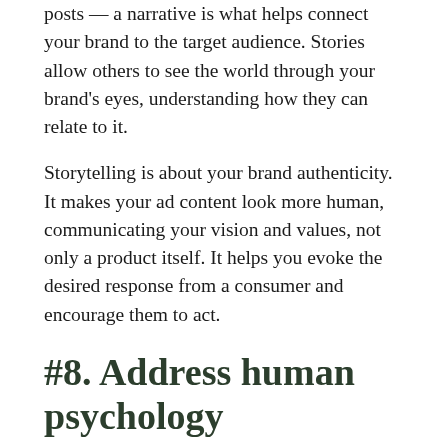posts — a narrative is what helps connect your brand to the target audience. Stories allow others to see the world through your brand's eyes, understanding how they can relate to it.
Storytelling is about your brand authenticity. It makes your ad content look more human, communicating your vision and values, not only a product itself. It helps you evoke the desired response from a consumer and encourage them to act.
#8. Address human psychology
Appealing to basic instincts in your writing, you can influence readers' emotions, motivations, and behavior. These instincts are our subconscious needs appearing in the brain's limbic system; and, according to the